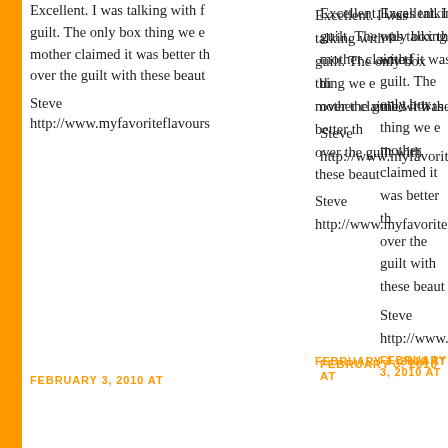Excellent. I was talking with f... guilt. The only box thing we e... mother claimed it was better th... over the guilt with these beaut...
Steve
http://www.myfavoriteflavour...
FEBRUARY 3, 2010 AT
VegeCooking Club said...
I won't tell anyone. ;) They loo...
FEBRUARY 3, 2010 AT
Debbie said...
I could eat these without any g...
FEBRUARY 3, 2010 AT
my spatula said...